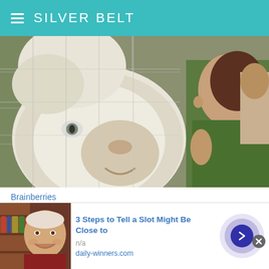SILVER BELT
[Figure (photo): A woman pressing her face close to a white lion through a wire fence, with another person visible in the background.]
Brainberries
27 Breathtakingly Beautiful Albino Animals
[Figure (photo): Partial view of another article image strip showing a green background and a partial figure.]
[Figure (photo): Advertisement banner showing an older man smiling, with headline '3 Steps to Tell a Slot Might Be Close to' and source 'daily-winners.com']